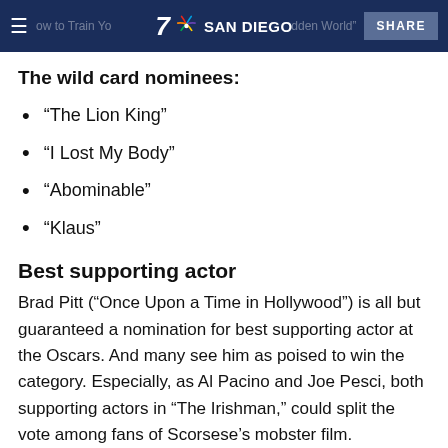7 NBC SAN DIEGO — SHARE
The wild card nominees:
“The Lion King”
“I Lost My Body”
“Abominable”
“Klaus”
Best supporting actor
Brad Pitt (“Once Upon a Time in Hollywood”) is all but guaranteed a nomination for best supporting actor at the Oscars. And many see him as poised to win the category. Especially, as Al Pacino and Joe Pesci, both supporting actors in “The Irishman,” could split the vote among fans of Scorsese’s mobster film.